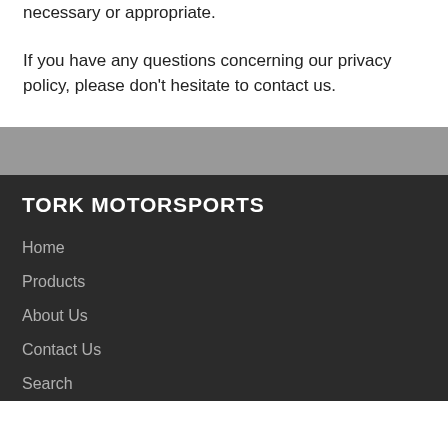necessary or appropriate.
If you have any questions concerning our privacy policy, please don't hesitate to contact us.
TORK MOTORSPORTS
Home
Products
About Us
Contact Us
Search